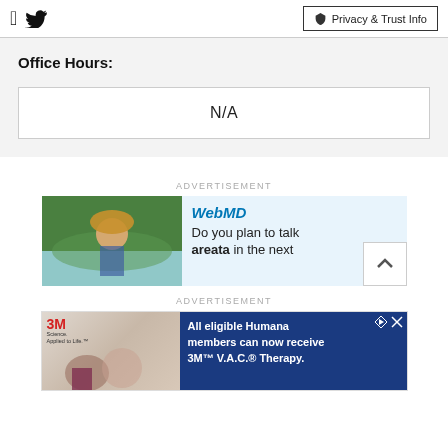Facebook Twitter | Privacy & Trust Info
Office Hours:
N/A
ADVERTISEMENT
[Figure (illustration): WebMD advertisement showing a woman in a floral dress and hat with text 'Do you plan to talk areata in the next']
ADVERTISEMENT
[Figure (illustration): 3M Science. Applied to Life. advertisement with text: All eligible Humana members can now receive 3M V.A.C. Therapy.]